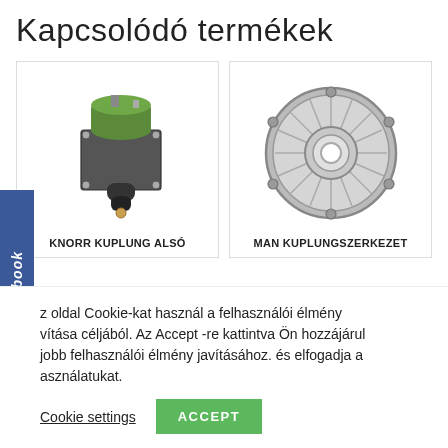Kapcsolódó termékek
[Figure (photo): KNORR clutch actuator (green cylindrical device with mounting bracket and boot)]
KNORR KUPLUNG ALSÓ
[Figure (photo): MAN clutch pressure plate assembly (circular disc with radial fins)]
MAN KUPLUNGSZERKEZET
z oldal Cookie-kat használ a felhasználói élmény vítása céljából. Az Accept -re kattintva Ön hozzájárul jobb felhasználói élmény javításához. és elfogadja a asználatukat.
Cookie settings
ACCEPT